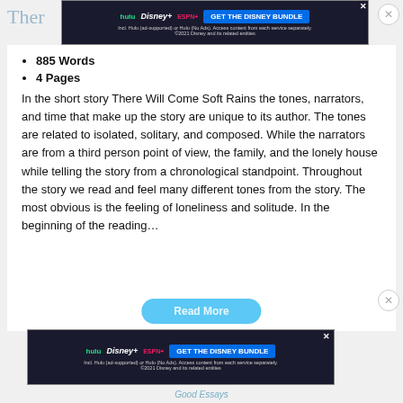[Figure (screenshot): Top advertisement banner for Disney Bundle featuring Hulu, Disney+, ESPN+ logos and 'GET THE DISNEY BUNDLE' button on dark background]
885 Words
4 Pages
In the short story There Will Come Soft Rains the tones, narrators, and time that make up the story are unique to its author. The tones are related to isolated, solitary, and composed. While the narrators are from a third person point of view, the family, and the lonely house while telling the story from a chronological standpoint. Throughout the story we read and feel many different tones from the story. The most obvious is the feeling of loneliness and solitude. In the beginning of the reading…
[Figure (screenshot): Bottom advertisement banner for Disney Bundle featuring Hulu, Disney+, ESPN+ logos and 'GET THE DISNEY BUNDLE' button on dark background]
Good Essays